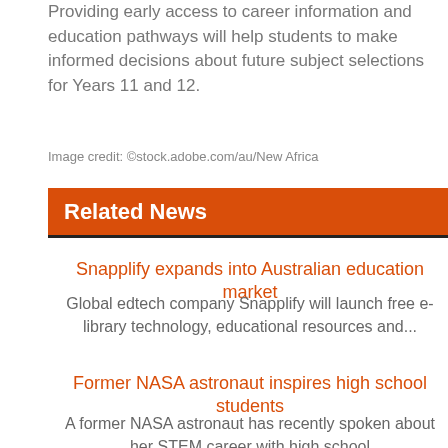Providing early access to career information and education pathways will help students to make informed decisions about future subject selections for Years 11 and 12.
Image credit: ©stock.adobe.com/au/New Africa
Related News
Snapplify expands into Australian education market
Global edtech company Snapplify will launch free e-library technology, educational resources and...
Former NASA astronaut inspires high school students
A former NASA astronaut has recently spoken about her STEM career with high school